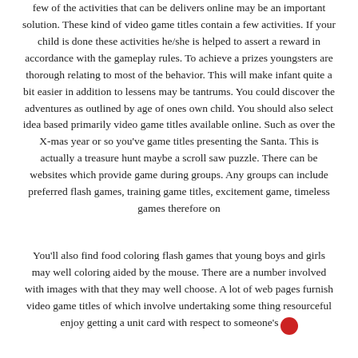few of the activities that can be delivers online may be an important solution. These kind of video game titles contain a few activities. If your child is done these activities he/she is helped to assert a reward in accordance with the gameplay rules. To achieve a prizes youngsters are thorough relating to most of the behavior. This will make infant quite a bit easier in addition to lessens may be tantrums. You could discover the adventures as outlined by age of ones own child. You should also select idea based primarily video game titles available online. Such as over the X-mas year or so you've game titles presenting the Santa. This is actually a treasure hunt maybe a scroll saw puzzle. There can be websites which provide game during groups. Any groups can include preferred flash games, training game titles, excitement game, timeless games therefore on
You'll also find food coloring flash games that young boys and girls may well coloring aided by the mouse. There are a number involved with images with that they may well choose. A lot of web pages furnish video game titles of which involve undertaking some thing resourceful enjoy getting a unit card with respect to someone's